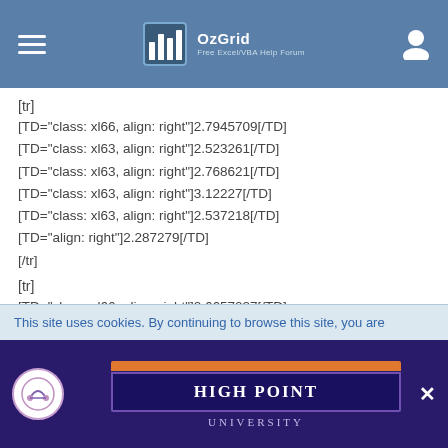OzGrid - Free Excel/VBA Help Forum
[tr]
[TD="class: xl66, align: right"]2.7945709[/TD]
[TD="class: xl63, align: right"]2.523261[/TD]
[TD="class: xl63, align: right"]2.768621[/TD]
[TD="class: xl63, align: right"]3.12227[/TD]
[TD="class: xl63, align: right"]2.537218[/TD]
[TD="align: right"]2.287279[/TD]
[/tr]
[tr]
[TD="class: xl66, align: right"]2.6657027[/TD]
[TD="class: xl63, align: right"]2.318319[/TD]
[TD="class: xl63, align: right"]2.903803[/TD]
This site uses cookies. By continuing to browse this site, you are
[Figure (other): High Point University advertisement banner]